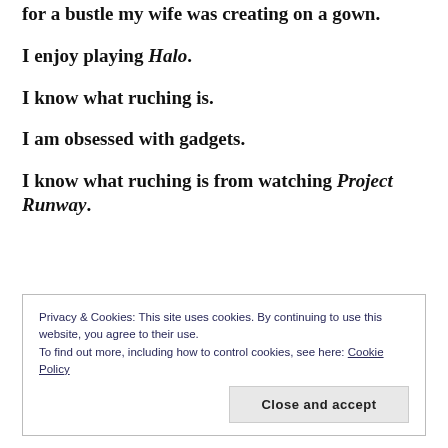for a bustle my wife was creating on a gown.
I enjoy playing Halo.
I know what ruching is.
I am obsessed with gadgets.
I know what ruching is from watching Project Runway.
Privacy & Cookies: This site uses cookies. By continuing to use this website, you agree to their use.
To find out more, including how to control cookies, see here: Cookie Policy